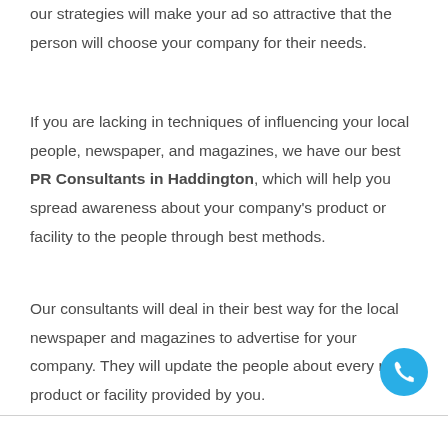our strategies will make your ad so attractive that the person will choose your company for their needs.
If you are lacking in techniques of influencing your local people, newspaper, and magazines, we have our best PR Consultants in Haddington, which will help you spread awareness about your company's product or facility to the people through best methods.
Our consultants will deal in their best way for the local newspaper and magazines to advertise for your company. They will update the people about every new product or facility provided by you.